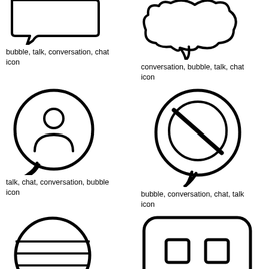[Figure (illustration): Chat bubble icon (partial, top cut off) with talk/conversation style pointer at bottom-left]
bubble, talk, conversation, chat icon
[Figure (illustration): Wavy/cloud conversation bubble with pointer at bottom, outline style]
conversation, bubble, talk, chat icon
[Figure (illustration): Speech bubble with person/user silhouette icon inside, pointer at bottom-left]
talk, chat, conversation, bubble icon
[Figure (illustration): Round speech bubble with a diagonal slash (no/banned) symbol inside, pointer at bottom]
bubble, conversation, chat, talk icon
[Figure (illustration): Round speech bubble with horizontal lines (globe/earth lines) inside, pointer at bottom]
talk, bubble, chat, conversation icon
[Figure (illustration): Rounded rectangle speech bubble with two square brackets/quotation marks inside, pointer at bottom-center]
conversation, chat, bubble, talk icon